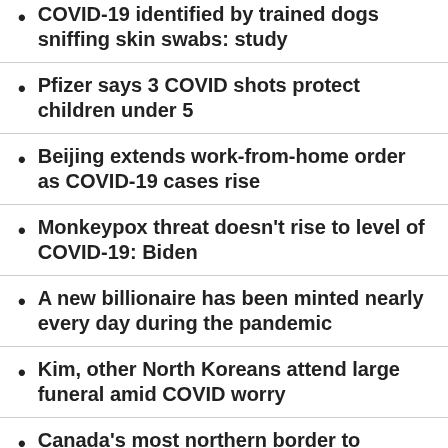COVID-19 identified by trained dogs sniffing skin swabs: study
Pfizer says 3 COVID shots protect children under 5
Beijing extends work-from-home order as COVID-19 cases rise
Monkeypox threat doesn't rise to level of COVID-19: Biden
A new billionaire has been minted nearly every day during the pandemic
Kim, other North Koreans attend large funeral amid COVID worry
Canada's most northern border to reopen June 1. Yukon prepares for return of tourism